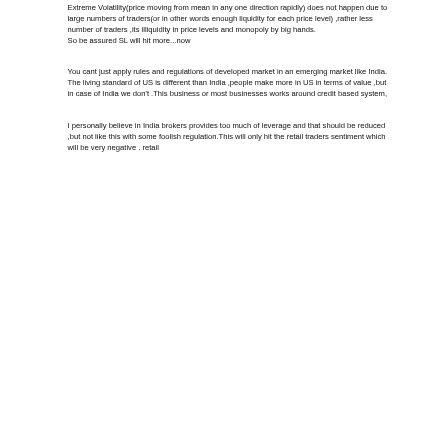Extreme Volatility(price moving from mean in any one direction rapidly) does not happen due to large numbers of traders(or in other words enough liquidity for each price level) ,rather less number of traders ,its illiquidity in price levels and monopoly by big hands.
So be assured SL will hit more...now
You cant just apply rules and regulations of developed market in an emerging market like India.
The living standard of US is different than India ,people make more in US in terms of value ,but in case of India we don't .This business or most businesses works around credit based system,
I personally believe in India brokers provides too much of leverage and that should be reduced ,but not like this with some foolish regulation.This will only hit the retail traders sentiment which will be very negative . retail